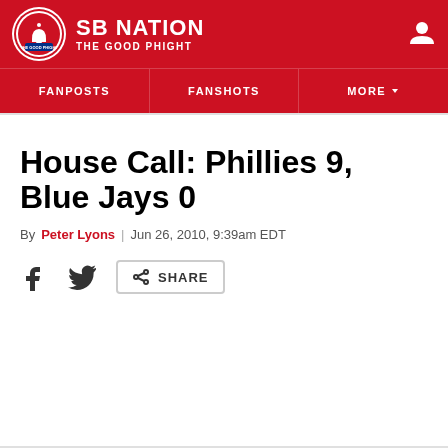SB NATION | THE GOOD PHIGHT
House Call: Phillies 9, Blue Jays 0
By Peter Lyons | Jun 26, 2010, 9:39am EDT
[Figure (other): Social share icons: Facebook, Twitter, and Share button]